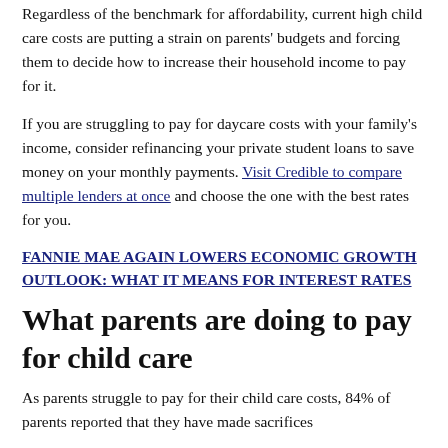Regardless of the benchmark for affordability, current high child care costs are putting a strain on parents' budgets and forcing them to decide how to increase their household income to pay for it.
If you are struggling to pay for daycare costs with your family's income, consider refinancing your private student loans to save money on your monthly payments. Visit Credible to compare multiple lenders at once and choose the one with the best rates for you.
FANNIE MAE AGAIN LOWERS ECONOMIC GROWTH OUTLOOK: WHAT IT MEANS FOR INTEREST RATES
What parents are doing to pay for child care
As parents struggle to pay for their child care costs, 84% of parents reported that they have made sacrifices